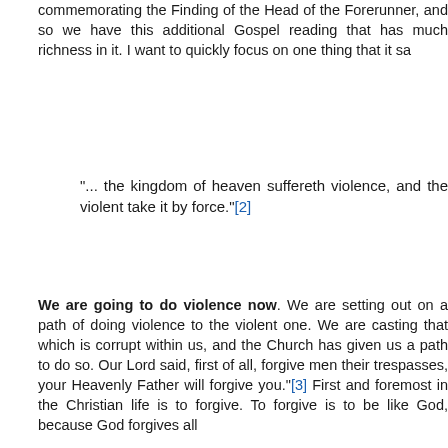commemorating the Finding of the Head of the Forerunner, and so we have this additional Gospel reading that has much richness in it. I want to quickly focus on one thing that it sa
"... the kingdom of heaven suffereth violence, and the violent take it by force."[2]
We are going to do violence now. We are setting out on a path of doing violence to the violent one. We are casting that which is corrupt within us, and the Church has given us a path to do so. Our Lord said, first of all, forgive men their trespasses, your Heavenly Father will forgive you."[3] First and foremost in the Christian life is to forgive. To forgive is to be like God, because God forgives all